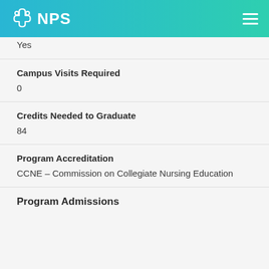NPS
Yes
Campus Visits Required
0
Credits Needed to Graduate
84
Program Accreditation
CCNE – Commission on Collegiate Nursing Education
Program Admissions